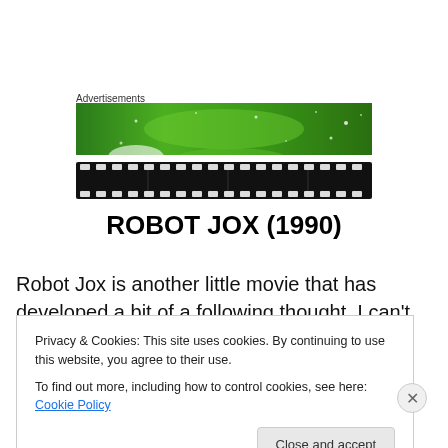Advertisements
[Figure (illustration): Green advertisement banner with sparkles/stars pattern]
[Figure (illustration): Film strip / movie reel strip graphic, black with white perforations]
ROBOT JOX (1990)
Robot Jox is another little movie that has developed a bit of a following thought, I can't fathom why. Produced by
Privacy & Cookies: This site uses cookies. By continuing to use this website, you agree to their use.
To find out more, including how to control cookies, see here: Cookie Policy
Close and accept